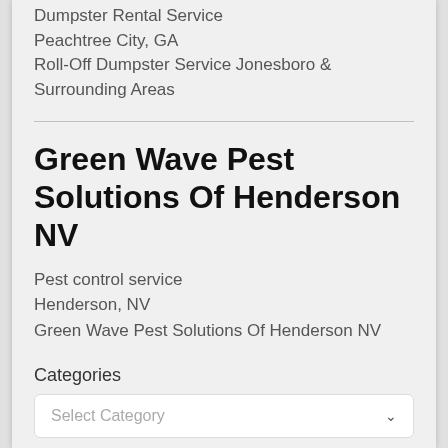Dumpster Rental Service
Peachtree City, GA
Roll-Off Dumpster Service Jonesboro & Surrounding Areas
Green Wave Pest Solutions Of Henderson NV
Pest control service
Henderson, NV
Green Wave Pest Solutions Of Henderson NV
Categories
Select Category